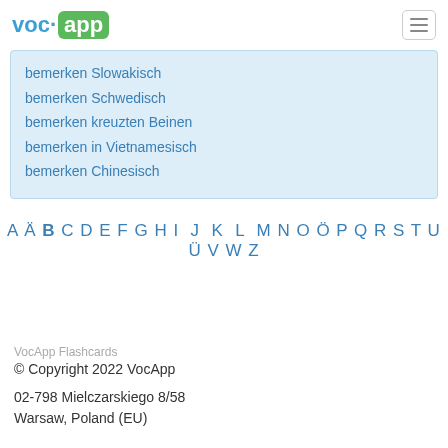VocApp logo and navigation menu
bemerken Slowakisch
bemerken Schwedisch
bemerken kreuzten Beinen
bemerken in Vietnamesisch
bemerken Chinesisch
A Ä B C D E F G H I  J  K  L  M N O Ö P Q R S T U Ü V W Z
VocApp Flashcards
© Copyright 2022 VocApp

02-798 Mielczarskiego 8/58
Warsaw, Poland (EU)